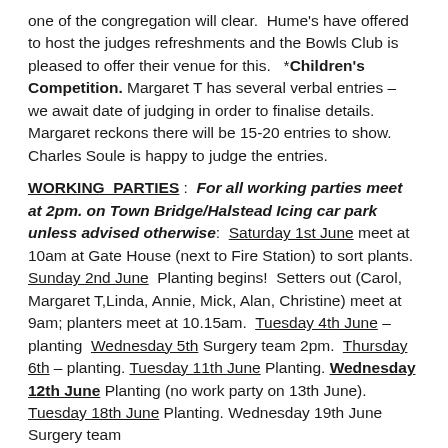one of the congregation will clear.  Hume's have offered to host the judges refreshments and the Bowls Club is pleased to offer their venue for this.   *Children's Competition. Margaret T has several verbal entries – we await date of judging in order to finalise details. Margaret reckons there will be 15-20 entries to show. Charles Soule is happy to judge the entries.
WORKING PARTIES :  For all working parties meet at 2pm. on Town Bridge/Halstead Icing car park unless advised otherwise:  Saturday 1st June meet at 10am at Gate House (next to Fire Station) to sort plants.  Sunday 2nd June  Planting begins!  Setters out (Carol, Margaret T,Linda, Annie, Mick, Alan, Christine) meet at 9am; planters meet at 10.15am.  Tuesday 4th June – planting  Wednesday 5th Surgery team 2pm.  Thursday 6th – planting. Tuesday 11th June Planting. Wednesday 12th June Planting (no work party on 13th June). Tuesday 18th June Planting. Wednesday 19th June Surgery team